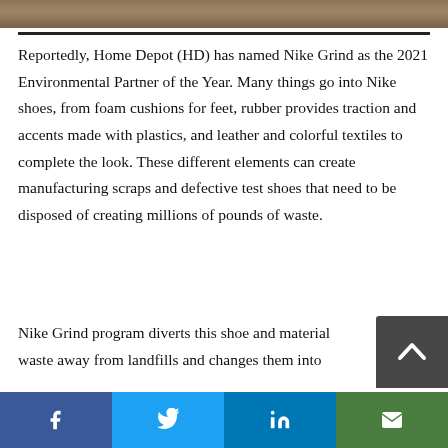[Figure (photo): Partial photo strip at top of page showing what appears to be a person or outdoor scene, cropped to a narrow horizontal band]
Reportedly, Home Depot (HD) has named Nike Grind as the 2021 Environmental Partner of the Year. Many things go into Nike shoes, from foam cushions for feet, rubber provides traction and accents made with plastics, and leather and colorful textiles to complete the look. These different elements can create manufacturing scraps and defective test shoes that need to be disposed of creating millions of pounds of waste.
Nike Grind program diverts this shoe and material waste away from landfills and changes them into
[Figure (screenshot): Scroll-to-top button overlay in bottom-right corner, dark background with upward chevron icon]
Social sharing bar with Facebook, Twitter, LinkedIn, and email icons